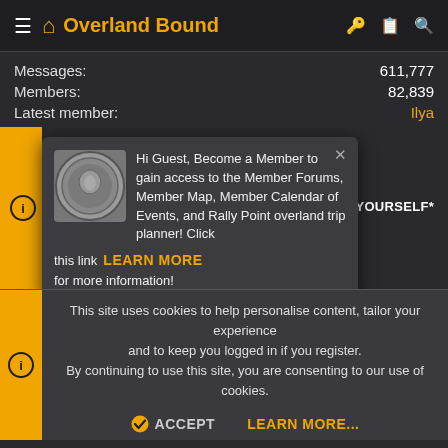Overland Bound
Messages: 611,777
Members: 82,839
Latest member: Ilya
[Figure (screenshot): Popup modal on Overland Bound website: coin logo image, close button (x), text 'Hi Guest, Become a Member to gain access to the Member Forums, Member Map, Member Calendar of Events, and Rally Point overland trip planner! Click this link LEARN MORE for more information!']
This site uses cookies to help personalise content, tailor your experience and to keep you logged in if you register. By continuing to use this site, you are consenting to our use of cookies.
ACCEPT  LEARN MORE...